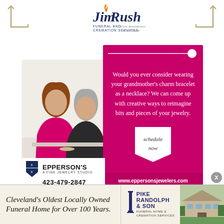[Figure (logo): Jim Rush Funeral and Cremation Services logo with decorative corner brackets on left and right]
[Figure (photo): Advertisement for Epperson's Fine Jewelry Studio. Left side shows photo of two women, one in pink blouse and one in dark top, looking at jewelry. Right side is magenta/hot pink panel with white text reading: Would you ever consider wearing your grandmother's charm bracelet as a necklace? We can come up with creative ways to reimagine bits and pieces of your jewelry. Schedule now badge at bottom. Epperson's logo and phone number 423-479-2847 at bottom left. Website www.eppersonsjewelers.com at bottom.]
[Figure (photo): Bottom banner ad for Pike Randolph & Son Funeral Home & Cremation Services. Text: Cleveland's Oldest Locally Owned Funeral Home for Over 100 Years. Includes logo and photo of building.]